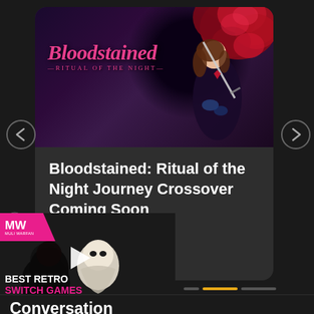[Figure (screenshot): Bloodstained: Ritual of the Night game banner showing pink stylized logo text on dark purple background with anime character holding a sword amid red roses]
Bloodstained: Ritual of the Night Journey Crossover Coming Soon
[Figure (screenshot): Video thumbnail showing two characters from Journey game, with MW (MyWatchLog) logo overlay and play button. Text reads BEST RETRO SWITCH GAMES]
Conversation